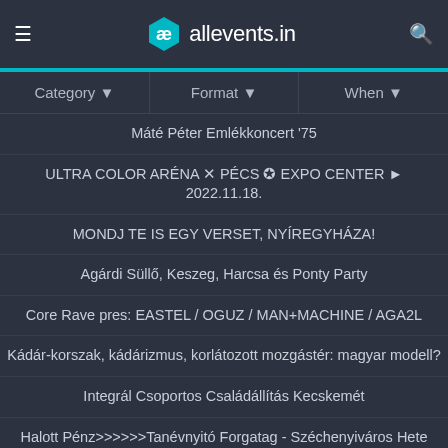allevents.in
Category ▼
Format ▼
When ▼
Máté Péter Emlékkoncert '75
ULTRA COLOR ARÉNA ✕ PÉCS ✪ EXPO CENTER ► 2022.11.18.
MONDJ TE IS EGY VERSET, NYÍREGYHÁZA!
Agárdi Süllő, Keszeg, Harcsa és Ponty Party
Core Rave pres: EASTEL / OGUZ / MAN+MACHINE / AGA2L
Kádár-korszak, kádárizmus, korlátozott mozgástér: magyar modell?
Integrál Csoportos Családállítás Kecskemét
Halott Pénz>>>>>>Tanévnyitó Forgatag - Széchenyiváros Hete
Fenyő Miklós 75 Jubileumi KoncertShow Nyíregyháza